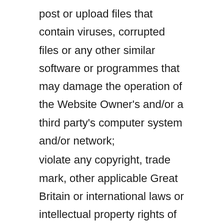post or upload files that contain viruses, corrupted files or any other similar software or programmes that may damage the operation of the Website Owner's and/or a third party's computer system and/or network;
violate any copyright, trade mark, other applicable Great Britain or international laws or intellectual property rights of the Website Owner or any other third party;
submit contents containing marketing or promotional material which is intended to solicit business.
You further agree not to use the website to send or post any message or material that is unlawful, harassing, defamatory, abusive, indecent,